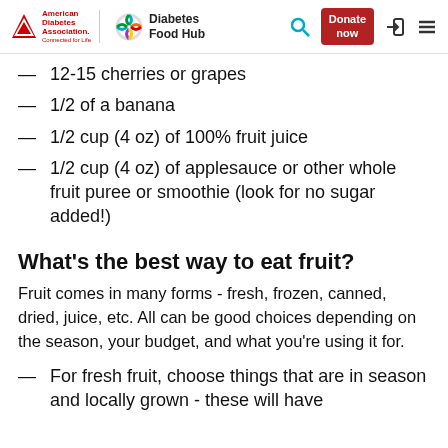American Diabetes Association | Diabetes Food Hub | Search | Donate now | Login | Menu
12-15 cherries or grapes
1/2 of a banana
1/2 cup (4 oz) of 100% fruit juice
1/2 cup (4 oz) of applesauce or other whole fruit puree or smoothie (look for no sugar added!)
What's the best way to eat fruit?
Fruit comes in many forms - fresh, frozen, canned, dried, juice, etc. All can be good choices depending on the season, your budget, and what you're using it for.
For fresh fruit, choose things that are in season and locally grown - these will have the best flavor and be the most...